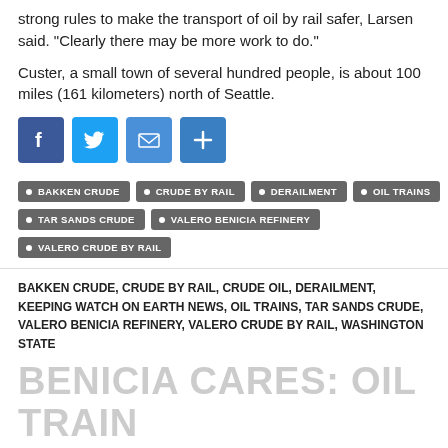strong rules to make the transport of oil by rail safer, Larsen said. "Clearly there may be more work to do."
Custer, a small town of several hundred people, is about 100 miles (161 kilometers) north of Seattle.
[Figure (infographic): Social sharing icons: Facebook (blue), Twitter (light blue), Email (blue envelope), Share/Plus (blue)]
BAKKEN CRUDE
CRUDE BY RAIL
DERAILMENT
OIL TRAINS
TAR SANDS CRUDE
VALERO BENICIA REFINERY
VALERO CRUDE BY RAIL
BAKKEN CRUDE, CRUDE BY RAIL, CRUDE OIL, DERAILMENT, KEEPING WATCH ON EARTH NEWS, OIL TRAINS, TAR SANDS CRUDE, VALERO BENICIA REFINERY, VALERO CRUDE BY RAIL, WASHINGTON STATE
BENICIA CARES: OIL TRAIN